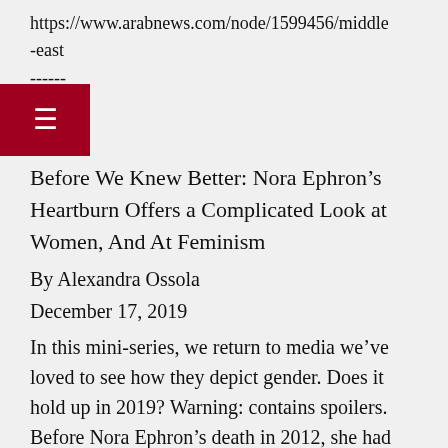https://www.arabnews.com/node/1599456/middle-east
------
Before We Knew Better: Nora Ephron’s Heartburn Offers a Complicated Look at Women, And At Feminism
By Alexandra Ossola
December 17, 2019
In this mini-series, we return to media we’ve loved to see how they depict gender. Does it hold up in 2019? Warning: contains spoilers.
Before Nora Ephron’s death in 2012, she had been a successful journalist, screenwriter, and director. By all accounts, she was brilliant, self-